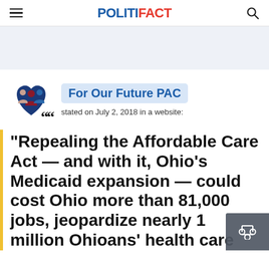POLITIFACT
[Figure (logo): PolitiFact website header logo with hamburger menu and search icon]
[Figure (illustration): Advertisement banner area with light blue-gray background]
[Figure (illustration): For Our Future PAC icon: stylized group of people silhouettes in blue, maroon, and dark blue heart shape]
For Our Future PAC
stated on July 2, 2018 in a website:
"Repealing the Affordable Care Act — and with it, Ohio's Medicaid expansion — could cost Ohio more than 81,000 jobs, jeopardize nearly 1 million Ohioans' health care